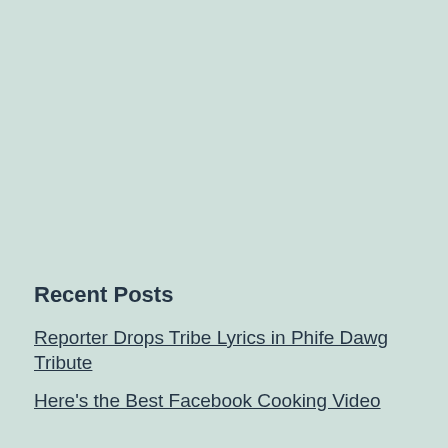Recent Posts
Reporter Drops Tribe Lyrics in Phife Dawg Tribute
Here's the Best Facebook Cooking Video